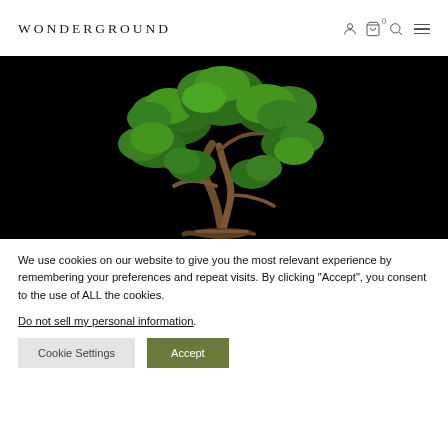WONDERGROUND
[Figure (photo): A bonsai tree with green foliage and twisted trunk against a black background]
We use cookies on our website to give you the most relevant experience by remembering your preferences and repeat visits. By clicking “Accept”, you consent to the use of ALL the cookies.
Do not sell my personal information.
Cookie Settings  Accept